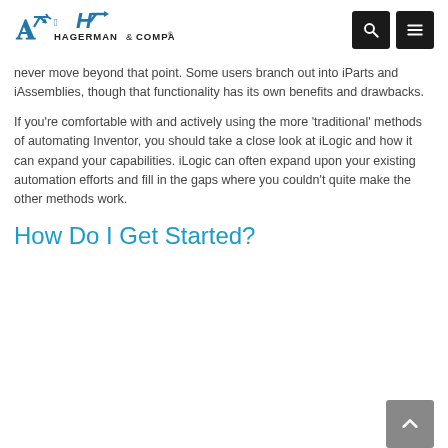HAGERMAN & COMPANY®
never move beyond that point. Some users branch out into iParts and iAssemblies, though that functionality has its own benefits and drawbacks.
If you're comfortable with and actively using the more 'traditional' methods of automating Inventor, you should take a close look at iLogic and how it can expand your capabilities. iLogic can often expand upon your existing automation efforts and fill in the gaps where you couldn't quite make the other methods work.
How Do I Get Started?